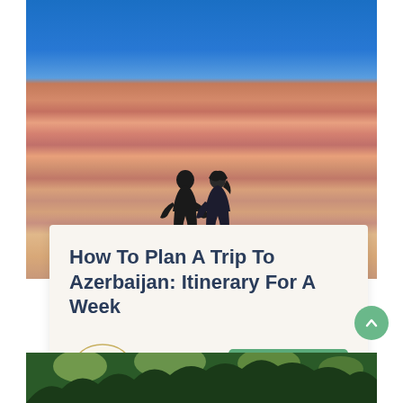[Figure (photo): Two people (a couple) sitting on layered pink-red sandstone dunes under a bright blue sky, a travel blog header photo for Azerbaijan]
How To Plan A Trip To Azerbaijan: Itinerary For A Week
[Figure (logo): Bruised Passports logo badge with text '30.04.13']
READ MORE
[Figure (photo): A forest scene with tall trees and green foliage visible at the bottom of the page]